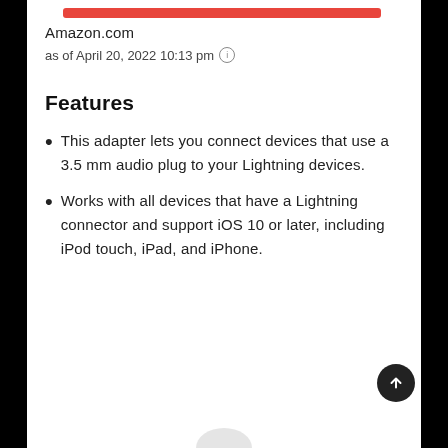[Figure (other): Red horizontal bar (Amazon branding bar)]
Amazon.com
as of April 20, 2022 10:13 pm ⓘ
Features
This adapter lets you connect devices that use a 3.5 mm audio plug to your Lightning devices.
Works with all devices that have a Lightning connector and support iOS 10 or later, including iPod touch, iPad, and iPhone.
[Figure (other): Scroll-to-top circular button with upward arrow]
[Figure (other): Partial product image at bottom of page]